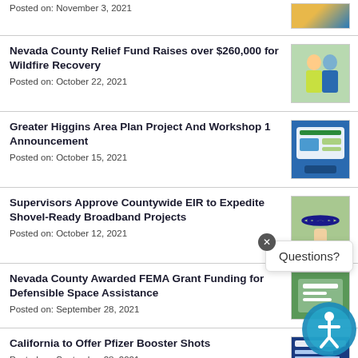Posted on: November 3, 2021
Nevada County Relief Fund Raises over $260,000 for Wildfire Recovery
Posted on: October 22, 2021
Greater Higgins Area Plan Project And Workshop 1 Announcement
Posted on: October 15, 2021
Supervisors Approve Countywide EIR to Expedite Shovel-Ready Broadband Projects
Posted on: October 12, 2021
Nevada County Awarded FEMA Grant Funding for Defensible Space Assistance
Posted on: September 28, 2021
California to Offer Pfizer Booster Shots
Posted on: September 28, 2021
[Figure (other): Questions? popup widget with close button and accessibility icon]
[Figure (other): Accessibility icon (person with circle) overlay at bottom right]